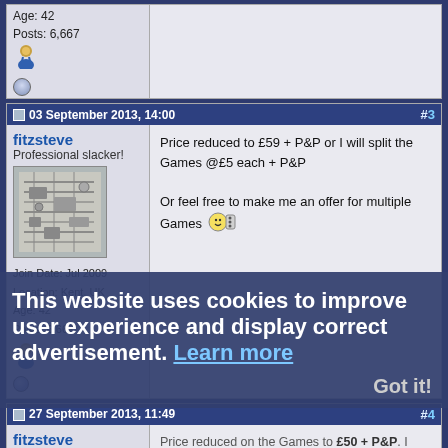Age: 42
Posts: 6,667
03 September 2013, 14:00 #3
fitzsteve
Professional slacker!
[Figure (photo): Avatar image showing circuit board / electronic components]
Join Date: Jul 2009
Location: Kent, UK
Age: 42
Posts: 6,667
Price reduced to £59 + P&P or I will split the Games @£5 each + P&P

Or feel free to make me an offer for multiple Games
27 September 2013, 11:49 #4
fitzsteve
Professional slacker!
[Figure (photo): Avatar image showing circuit board / electronic components (second instance)]
Price reduced on the Games to £50 + P&P. I have tested about 10 of the Games this morning on my A500+ and all the ones I tested loaded up fine, whilst I can't guarantee
This website uses cookies to improve user experience and display correct advertisement. Learn more
Got it!